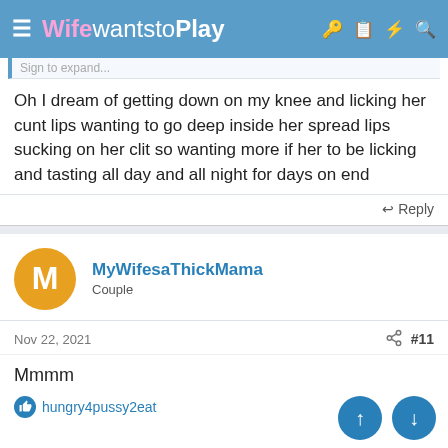WifewantstoPlay
Sign to expand...
Oh I dream of getting down on my knee and licking her cunt lips wanting to go deep inside her spread lips sucking on her clit so wanting more if her to be licking and tasting all day and all night for days on end
↩ Reply
MyWifesaThickMama
Couple
Nov 22, 2021   #11
Mmmm
hungry4pussy2eat